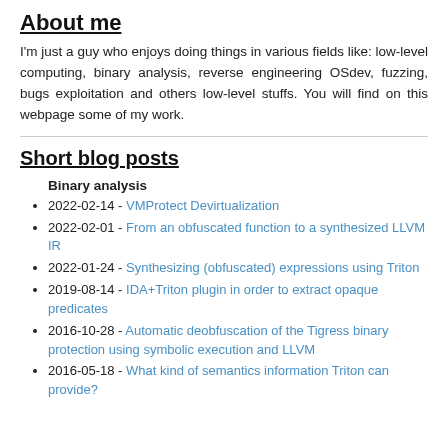About me
I'm just a guy who enjoys doing things in various fields like: low-level computing, binary analysis, reverse engineering OSdev, fuzzing, bugs exploitation and others low-level stuffs. You will find on this webpage some of my work.
Short blog posts
Binary analysis
2022-02-14 - VMProtect Devirtualization
2022-02-01 - From an obfuscated function to a synthesized LLVM IR
2022-01-24 - Synthesizing (obfuscated) expressions using Triton
2019-08-14 - IDA+Triton plugin in order to extract opaque predicates
2016-10-28 - Automatic deobfuscation of the Tigress binary protection using symbolic execution and LLVM
2016-05-18 - What kind of semantics information Triton can provide?